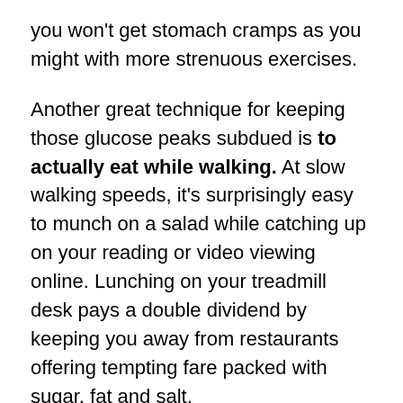you won't get stomach cramps as you might with more strenuous exercises.
Another great technique for keeping those glucose peaks subdued is to actually eat while walking. At slow walking speeds, it's surprisingly easy to munch on a salad while catching up on your reading or video viewing online. Lunching on your treadmill desk pays a double dividend by keeping you away from restaurants offering tempting fare packed with sugar, fat and salt.
If you have times of the day when you crave foods that are higher in carbs or sugars than you know you should be eating, consuming them while on your walking workstation will reduce the peaks of the accompanying